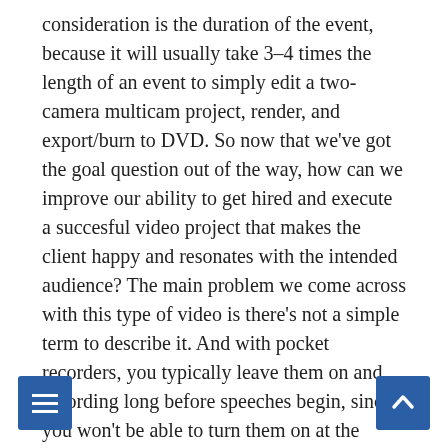consideration is the duration of the event, because it will usually take 3–4 times the length of an event to simply edit a two-camera multicam project, render, and export/burn to DVD. So now that we've got the goal question out of the way, how can we improve our ability to get hired and execute a succesful video project that makes the client happy and resonates with the intended audience? The main problem we come across with this type of video is there's not a simple term to describe it. And with pocket recorders, you typically leave them on and recording long before speeches begin, since you won't be able to turn them on at the precise moment someone speeks. Nowadays, any video work could be called videography, … To be honest, most new clients don't know precisely what they want. One Digital Filmmaker hovering